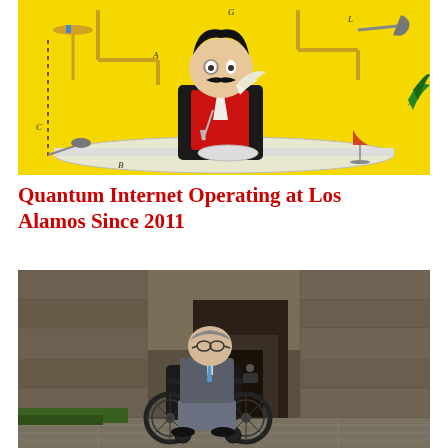[Figure (illustration): Cartoon illustration of a man in formal dress with elaborate mechanical devices and tubes around him, yellow background, labeled with letters A, B, C, G, L, M]
Quantum Internet Operating at Los Alamos Since 2011
[Figure (photo): Photograph of Stephen Hawking in his motorized wheelchair in a stone archway corridor, wearing a grey suit]